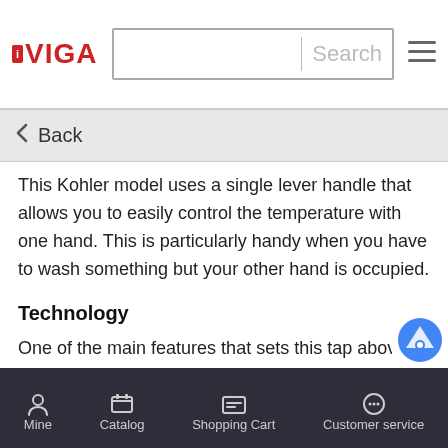IVIGA — Search bar with hamburger menu
< Back
This Kohler model uses a single lever handle that allows you to easily control the temperature with one hand. This is particularly handy when you have to wash something but your other hand is occupied.
Technology
One of the main features that sets this tap above the rest is its wireless connectivity.
Using the latest Bluetooth technology, the Kohler Rubicon can connect to almost any device running Bluetooth 4.0 or hig…
Mine  Catalog  Shopping Cart  Customer service